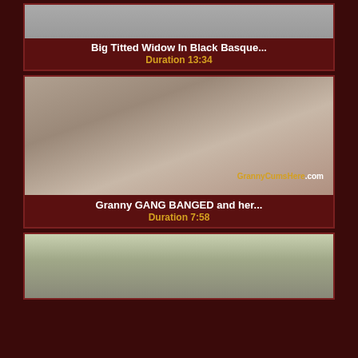[Figure (photo): Thumbnail image for adult video 1]
Big Titted Widow In Black Basque...
Duration 13:34
[Figure (photo): Thumbnail image for adult video 2, watermark GrannyCumsHere.com]
Granny GANG BANGED and her...
Duration 7:58
[Figure (photo): Thumbnail image for adult video 3]